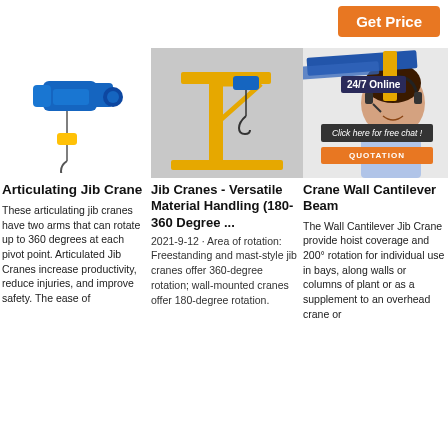Get Price
[Figure (illustration): Blue electric hoist/wire rope hoist with hook hanging below]
[Figure (illustration): Yellow freestanding jib crane with blue electric hoist and hook, on yellow base]
[Figure (illustration): Customer service person with headset, overlaid with 24/7 Online badge, 'Click here for free chat!' banner, and QUOTATION button. Blue beam structural crane element visible top.]
Articulating Jib Crane
These articulating jib cranes have two arms that can rotate up to 360 degrees at each pivot point. Articulated Jib Cranes increase productivity, reduce injuries, and improve safety. The ease of
Jib Cranes - Versatile Material Handling (180-360 Degree ...
2021-9-12 · Area of rotation: Freestanding and mast-style jib cranes offer 360-degree rotation; wall-mounted cranes offer 180-degree rotation.
Crane Wall Cantilever Beam
The Wall Cantilever Jib Crane provide hoist coverage and 200° rotation for individual use in bays, along walls or columns of plant or as a supplement to an overhead crane or